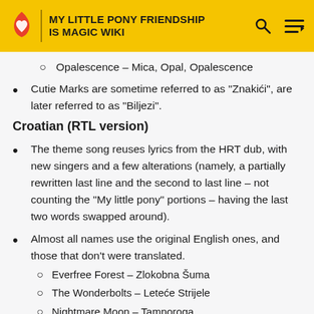MY LITTLE PONY FRIENDSHIP IS MAGIC WIKI
Opalescence – Mica, Opal, Opalescence
Cutie Marks are sometime referred to as "Znakići", are later referred to as "Biljezi".
Croatian (RTL version)
The theme song reuses lyrics from the HRT dub, with new singers and a few alterations (namely, a partially rewritten last line and the second to last line – not counting the "My little pony" portions – having the last two words swapped around).
Almost all names use the original English ones, and those that don't were translated.
Everfree Forest – Zlokobna Šuma
The Wonderbolts – Leteće Strijele
Nightmare Moon – Tamnoroga